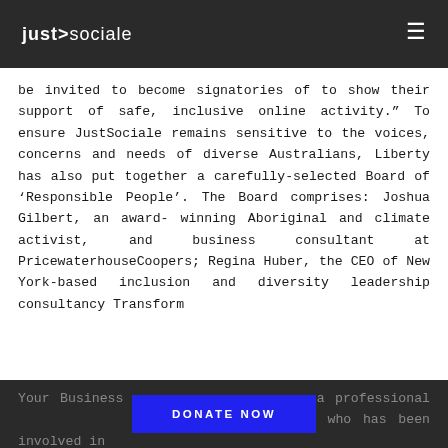just>sociale
be invited to become signatories of to show their support of safe, inclusive online activity.” To ensure JustSociale remains sensitive to the voices, concerns and needs of diverse Australians, Liberty has also put together a carefully-selected Board of ‘Responsible People’. The Board comprises: Joshua Gilbert, an award-winning Aboriginal and climate activist, and business consultant at PricewaterhouseCoopers; Regina Huber, the CEO of New York-based inclusion and diversity leadership consultancy Transform Your Business; n, a professional al media strategist who has been involved in